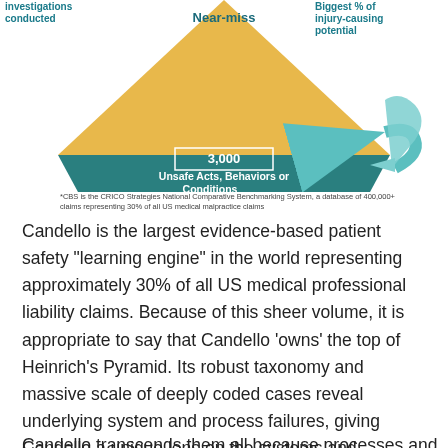[Figure (infographic): Heinrich's Pyramid diagram showing safety hierarchy. Top tiers: investigations conducted (left label), Near-miss (center label at top), Biggest % of injury-causing potential (right label). Middle tier: 3,000 Unsafe Acts, Behaviors or Conditions with a teal arrow pointing left. The pyramid has gold/yellow top portion and teal/green bottom portion.]
*CBS is the CRICO Strategies National Comparative Benchmarking System, a database of 400,000+ claims representing 30% of all US medical malpractice claims
Candello is the largest evidence-based patient safety “learning engine” in the world representing approximately 30% of all US medical professional liability claims. Because of this sheer volume, it is appropriate to say that Candello ‘owns’ the top of Heinrich’s Pyramid. Its robust taxonomy and massive scale of deeply coded cases reveal underlying system and process failures, giving Candello a unique lens on the systems and processes that can either enable or disable the care you provide for your patients. So whether you use the word safety, quality, risk, performance, satisfaction, or value,
Candello transcends them all because processes and